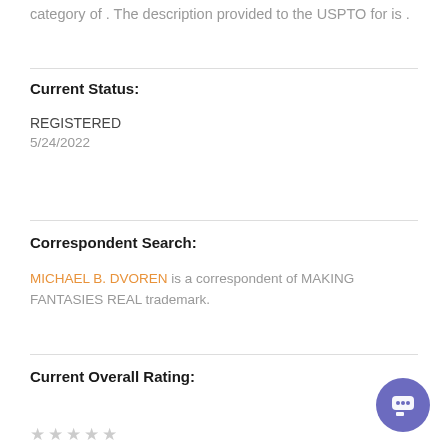category of . The description provided to the USPTO for is .
Current Status:
REGISTERED
5/24/2022
Correspondent Search:
MICHAEL B. DVOREN is a correspondent of MAKING FANTASIES REAL trademark.
Current Overall Rating: